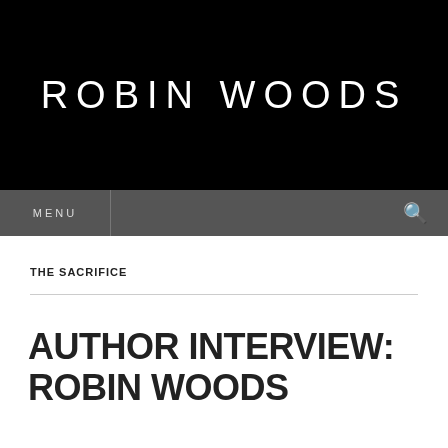ROBIN WOODS
MENU
THE SACRIFICE
AUTHOR INTERVIEW: ROBIN WOODS